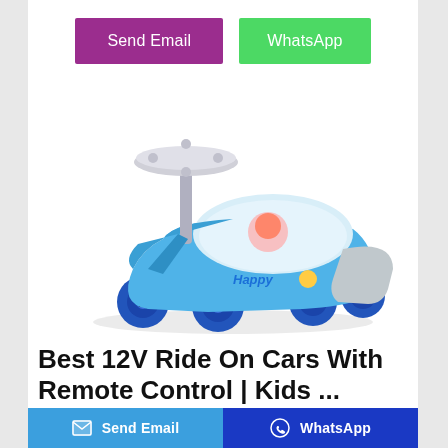[Figure (other): Two call-to-action buttons: 'Send Email' in purple and 'WhatsApp' in green]
[Figure (photo): Blue children's ride-on toy car / wiggle car with a steering wheel, white seat, and blue wheels. 'Happy' text visible on the side.]
Best 12V Ride On Cars With Remote Control | Kids ...
Dec 07, 2020-This electric vehicle ensures that the kids have the fun of driving the SUV style car on different terrains. 5. TOBBI 12V Licensed Volkswagen
Send Email  WhatsApp